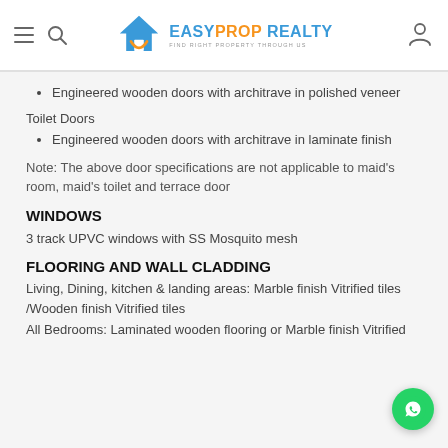EASYPROP REALTY — Find Right Property Through Us
Engineered wooden doors with architrave in polished veneer
Toilet Doors
Engineered wooden doors with architrave in laminate finish
Note: The above door specifications are not applicable to maid's room, maid's toilet and terrace door
WINDOWS
3 track UPVC windows with SS Mosquito mesh
FLOORING AND WALL CLADDING
Living, Dining, kitchen & landing areas: Marble finish Vitrified tiles /Wooden finish Vitrified tiles
All Bedrooms: Laminated wooden flooring or Marble finish Vitrified